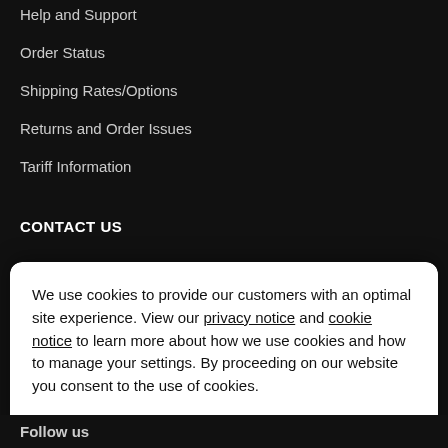Help and Support
Order Status
Shipping Rates/Options
Returns and Order Issues
Tariff Information
CONTACT US
We use cookies to provide our customers with an optimal site experience. View our privacy notice and cookie notice to learn more about how we use cookies and how to manage your settings. By proceeding on our website you consent to the use of cookies.
Continue
Exit
Privacy Notice
Follow us